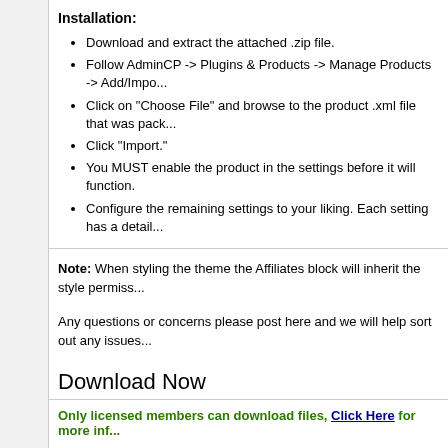Installation:
Download and extract the attached .zip file.
Follow AdminCP -> Plugins & Products -> Manage Products -> Add/Impo...
Click on "Choose File" and browse to the product .xml file that was pack...
Click "Import."
You MUST enable the product in the settings before it will function.
Configure the remaining settings to your liking. Each setting has a detail...
Note: When styling the theme the Affiliates block will inherit the style permiss...
Any questions or concerns please post here and we will help sort out any issues...
Download Now
Only licensed members can download files, Click Here for more inf...
Supporters / CoAuthors
MarkFL
Screenshots
[Figure (screenshot): Two screenshot thumbnails of the plugin interface]